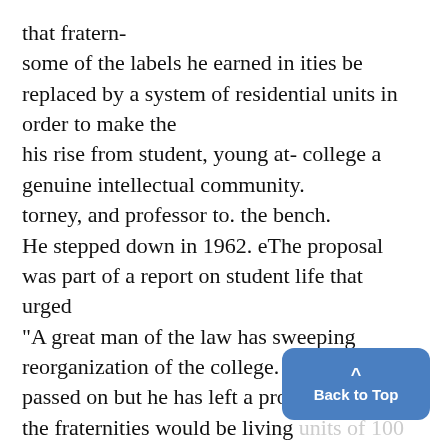that fratern- some of the labels he earned in ities be replaced by a system of residential units in order to make the his rise from student, young at- college a genuine intellectual community. torney, and professor to. the bench. He stepped down in 1962. eThe proposal was part of a report on student life that urged "A great man of the law has sweeping reorganization of the college. passed on but he has left a pro the fraternities would be living units of 100